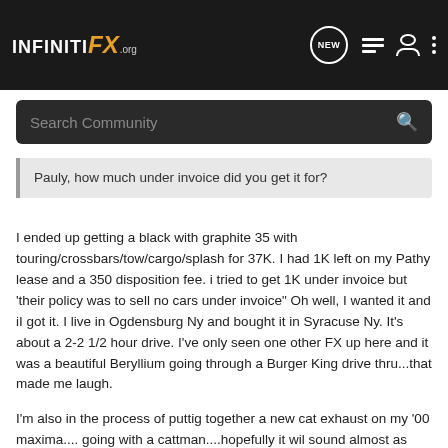INFINITI FX.org
Search Community
Pauly, how much under invoice did you get it for?
I ended up getting a black with graphite 35 with touring/crossbars/tow/cargo/splash for 37K. I had 1K left on my Pathy lease and a 350 disposition fee. i tried to get 1K under invoice but 'their policy was to sell no cars under invoice" Oh well, I wanted it and iI got it. I live in Ogdensburg Ny and bought it in Syracuse Ny. It's about a 2-2 1/2 hour drive. I've only seen one other FX up here and it was a beautiful Beryllium going through a Burger King drive thru...that made me laugh.
I'm also in the process of puttig together a new cat exhaust on my '00 maxima.... going with a cattman....hopefully it wil sound almost as good as the FX